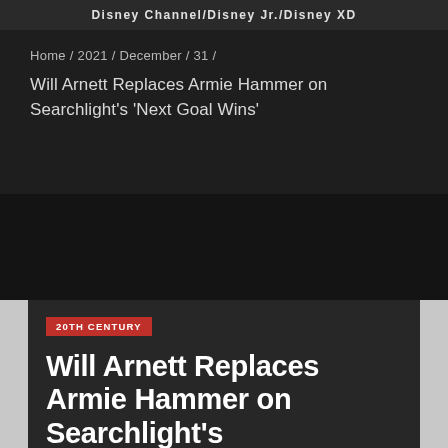Disney Channel/Disney Jr./Disney XD
Home / 2021 / December / 31 /
Will Arnett Replaces Armie Hammer on Searchlight's 'Next Goal Wins'
20TH CENTURY
Will Arnett Replaces Armie Hammer on Searchlight's